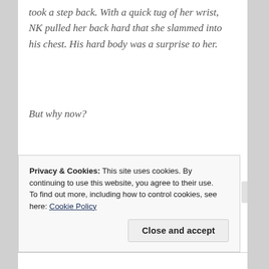took a step back. With a quick tug of her wrist, NK pulled her back hard that she slammed into his chest. His hard body was a surprise to her.
But why now?
She thought she was familiar with him, his smell, his
Privacy & Cookies: This site uses cookies. By continuing to use this website, you agree to their use.
To find out more, including how to control cookies, see here: Cookie Policy
Close and accept